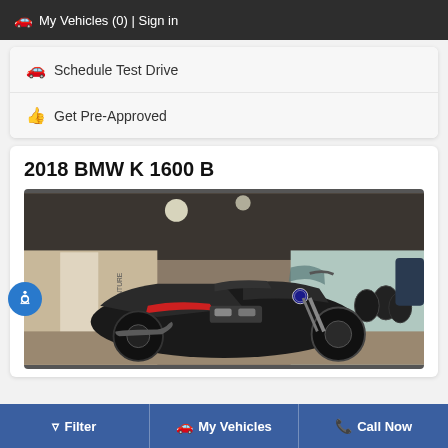🚗 My Vehicles (0) | Sign in
🚗 Schedule Test Drive
👍 Get Pre-Approved
2018 BMW K 1600 B
[Figure (photo): Black and red BMW K 1600 B motorcycle parked in a showroom with various merchandise visible in the background]
Filter | My Vehicles | Call Now